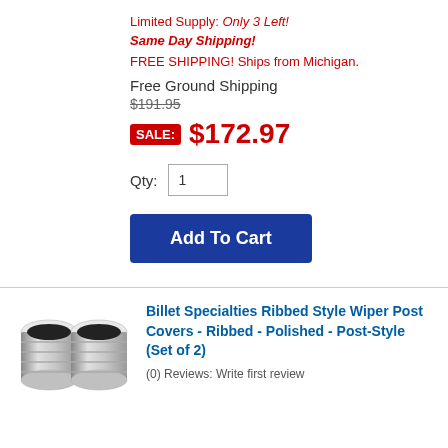Limited Supply: Only 3 Left!
Same Day Shipping!
FREE SHIPPING! Ships from Michigan.
Free Ground Shipping
$191.95
SALE: $172.97
Qty: 1
[Figure (other): Add To Cart button - dark blue rectangular button]
[Figure (photo): Two polished chrome ribbed wiper post covers side by side]
Billet Specialties Ribbed Style Wiper Post Covers - Ribbed - Polished - Post-Style (Set of 2)
(0) Reviews: Write first review